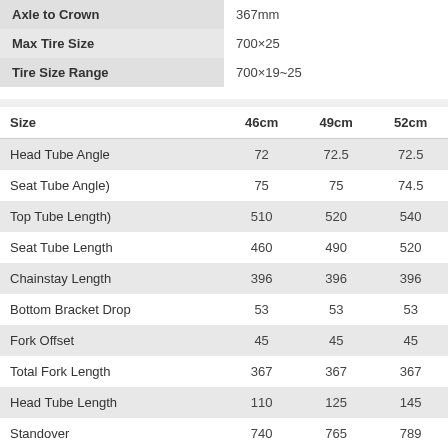|  |  |
| --- | --- |
| Axle to Crown | 367mm |
| Max Tire Size | 700×25 |
| Tire Size Range | 700×19~25 |
| Size | 46cm | 49cm | 52cm |
| --- | --- | --- | --- |
| Head Tube Angle | 72 | 72.5 | 72.5 |
| Seat Tube Angle) | 75 | 75 | 74.5 |
| Top Tube Length) | 510 | 520 | 540 |
| Seat Tube Length | 460 | 490 | 520 |
| Chainstay Length | 396 | 396 | 396 |
| Bottom Bracket Drop | 53 | 53 | 53 |
| Fork Offset | 45 | 45 | 45 |
| Total Fork Length | 367 | 367 | 367 |
| Head Tube Length | 110 | 125 | 145 |
| Standover | 740 | 765 | 789 |
| Wheelbase | 961 | 967 | 983 |
| Stack | 493 | 509 | 528 |